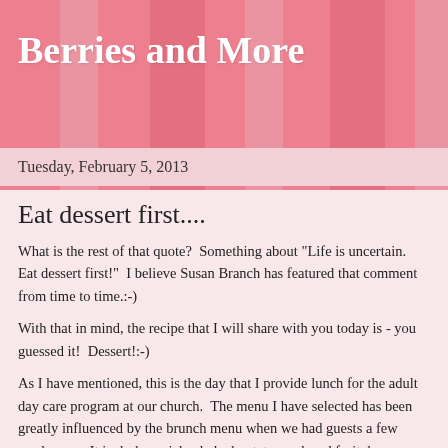Berries and More
Tuesday, February 5, 2013
Eat dessert first....
What is the rest of that quote?  Something about "Life is uncertain.  Eat dessert first!"  I believe Susan Branch has featured that comment from time to time.:-)
With that in mind, the recipe that I will share with you today is - you guessed it!  Dessert!:-)
As I have mentioned, this is the day that I provide lunch for the adult day care program at our church.  The menu I have selected has been greatly influenced by the brunch menu when we had guests a few weeks ago.  It includes quiche, baked potatoes, glazed fruit, banana bread muffins, and chocolate pound cake.  I will try to remember to take a picture of the plate as it is served and post it